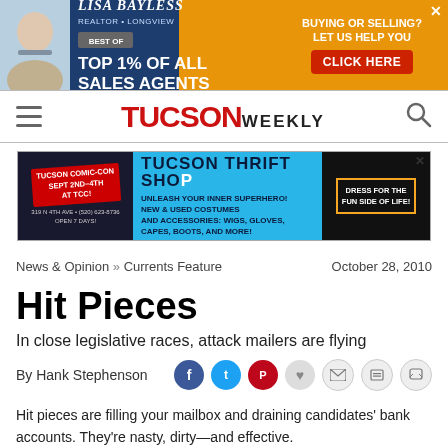[Figure (photo): Lisa Bayless real estate advertisement banner: Top 1% of All Sales Agents, Buying or Selling? Let Us Help You, Click Here]
TUCSON WEEKLY
[Figure (photo): Tucson Thrift Shop advertisement with Tucson Comic-Con promotion: Unleash Your Inner Superhero! New & Used Costumes and Accessories. Sept 2nd-4th at TCC!]
News & Opinion » Currents Feature   October 28, 2010
Hit Pieces
In close legislative races, attack mailers are flying
By Hank Stephenson
Hit pieces are filling your mailbox and draining candidates' bank accounts. They're nasty, dirty—and effective.